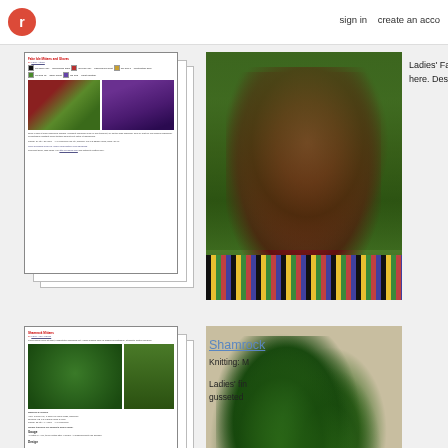r  sign in  create an account
[Figure (photo): Knitting pattern document thumbnail showing colorful Norwegian-style mittens/gloves on a green leafy background, stacked paper effect]
[Figure (photo): Close-up photo of red and green Norwegian-style colorwork mittens on green foliage background with multicolor cuff]
Ladies' Fa here. Des
[Figure (photo): Shamrock Mittens knitting pattern document thumbnail showing green mittens, stacked paper effect]
[Figure (photo): Close-up photo of green shamrock colorwork mittens being held, on lace cloth background]
Shamrock
Knitting: M
Ladies' fin gusseted
[Figure (photo): Riverside pattern thumbnail partially visible at bottom]
[Figure (photo): Riverside photo partially visible at bottom]
Riverside